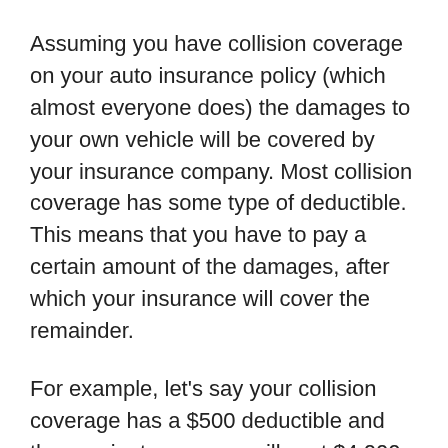Assuming you have collision coverage on your auto insurance policy (which almost everyone does) the damages to your own vehicle will be covered by your insurance company. Most collision coverage has some type of deductible. This means that you have to pay a certain amount of the damages, after which your insurance will cover the remainder.
For example, let's say your collision coverage has a $500 deductible and the repairs to your car will cost $4,000. You would pay for the first $500 and your insurance would cover the balance of $3,500. Some policies have higher deductibles. Let's say your opted for the $5,000 deductible option on your collision coverage (because it made your monthly insurance premium $50